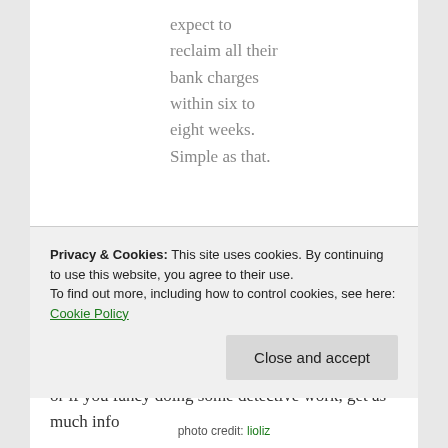expect to reclaim all their bank charges within six to eight weeks. Simple as that.
But it would appear to be absolute nonsense – there may be the odd case where charges can still be reclaimed, but in the majority of cases the chances of winning are slim. So if you do get one of these calls out of the blue, don't give them any details and get off the phone as soon as you can – or if you fancy doing some detective work, get as much info
Privacy & Cookies: This site uses cookies. By continuing to use this website, you agree to their use.
To find out more, including how to control cookies, see here: Cookie Policy
photo credit: lioliz